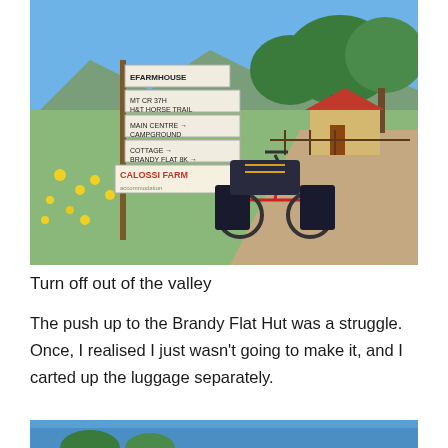[Figure (photo): A loaded touring bicycle parked on grass beside a wooden signpost with multiple direction signs including 'Farmhouse', 'Horse Trail', 'Main Centre Campground', 'Cottage', 'Brandy Flat 8k', and 'Calossi Farm'. Yellow wildflowers in the foreground, farm buildings and large green trees in the background, gravel road on the right, blue sky.]
Turn off out of the valley
The push up to the Brandy Flat Hut was a struggle. Once, I realised I just wasn't going to make it, and I carted up the luggage separately.
[Figure (photo): Partial view of a second outdoor photo showing blue sky, partially cropped at bottom of page.]